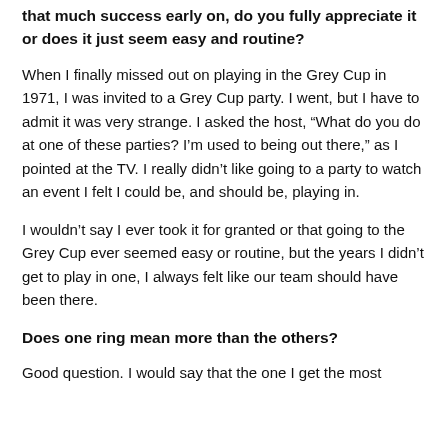that much success early on, do you fully appreciate it or does it just seem easy and routine?
When I finally missed out on playing in the Grey Cup in 1971, I was invited to a Grey Cup party. I went, but I have to admit it was very strange. I asked the host, “What do you do at one of these parties? I’m used to being out there,” as I pointed at the TV. I really didn’t like going to a party to watch an event I felt I could be, and should be, playing in.
I wouldn’t say I ever took it for granted or that going to the Grey Cup ever seemed easy or routine, but the years I didn’t get to play in one, I always felt like our team should have been there.
Does one ring mean more than the others?
Good question. I would say that the one I get the most